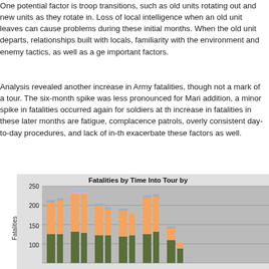One potential factor is troop transitions, such as old units rotating out and new units as they rotate in. Loss of local intelligence when an old unit leaves can cause problems during these initial months. When the old unit departs, relationships built with locals, familiarity with the environment and enemy tactics, as well as a general awareness are important factors.
Analysis revealed another increase in Army fatalities, though not as pronounced, at the mark of a tour. The six-month spike was less pronounced for Marines than for the Army. In addition, a minor spike in fatalities occurred again for soldiers at the nine-month mark. The increase in fatalities in these later months are fatigue, complacency, less rigorous patrolling patrols, overly consistent day-to-day procedures, and lack of in-theater training. Stress may exacerbate these factors as well.
[Figure (bar-chart): Stacked bar chart partially visible showing fatalities by time into tour, with bars of varying heights around 100-230 range, y-axis labels at 100, 150, 200, 250]